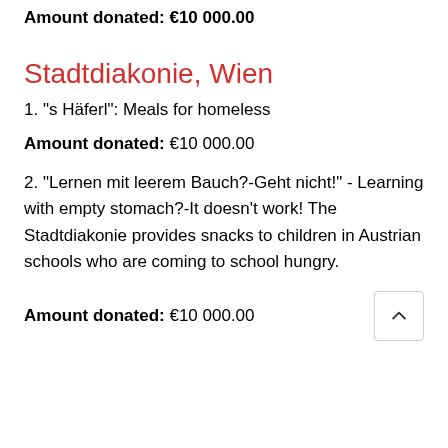Amount donated: €10 000.00
Stadtdiakonie, Wien
1. "s Häferl": Meals for homeless
Amount donated: €10 000.00
2. "Lernen mit leerem Bauch?-Geht nicht!" - Learning with empty stomach?-It doesn't work! The Stadtdiakonie provides snacks to children in Austrian schools who are coming to school hungry.
Amount donated: €10 000.00